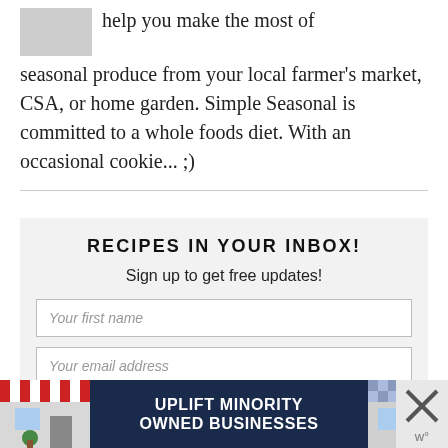help you make the most of seasonal produce from your local farmer's market, CSA, or home garden. Simple Seasonal is committed to a whole foods diet. With an occasional cookie... ;)
[Figure (photo): Small thumbnail image of a person or food item]
RECIPES IN YOUR INBOX!
Sign up to get free updates!
Your first name
Your email address
[Figure (infographic): Advertisement banner: UPLIFT MINORITY OWNED BUSINESSES with storefront illustrations on both sides and a close button]